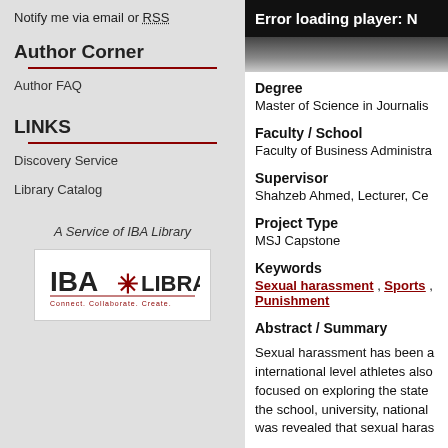Notify me via email or RSS
Author Corner
Author FAQ
LINKS
Discovery Service
Library Catalog
A Service of IBA Library
[Figure (logo): IBA Library logo with text 'IBA*LIBRARY Connect. Collaborate. Create.']
Error loading player: N
Degree
Master of Science in Journalism
Faculty / School
Faculty of Business Administra...
Supervisor
Shahzeb Ahmed, Lecturer, Ce...
Project Type
MSJ Capstone
Keywords
Sexual harassment , Sports , Punishment
Abstract / Summary
Sexual harassment has been a... international level athletes also... focused on exploring the state... the school, university, national... was revealed that sexual haras...